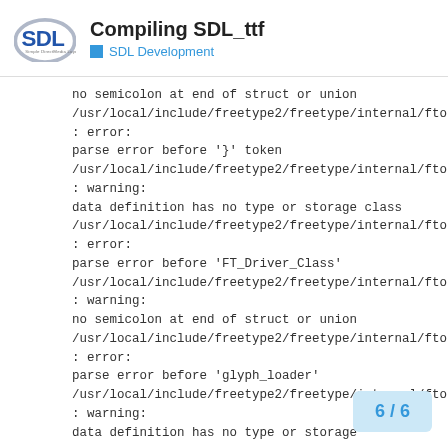Compiling SDL_ttf - SDL Development
no semicolon at end of struct or union
/usr/local/include/freetype2/freetype/internal/ftobjs.h:278
: error:
parse error before '}' token
/usr/local/include/freetype2/freetype/internal/ftobjs.h:278
: warning:
data definition has no type or storage class
/usr/local/include/freetype2/freetype/internal/ftobjs.h:595
: error:
parse error before 'FT_Driver_Class'
/usr/local/include/freetype2/freetype/internal/ftobjs.h:595
: warning:
no semicolon at end of struct or union
/usr/local/include/freetype2/freetype/internal/ftobjs.h:600
: error:
parse error before 'glyph_loader'
/usr/local/include/freetype2/freetype/internal/ftobjs.h:600
: warning:
data definition has no type or storage
6 / 6